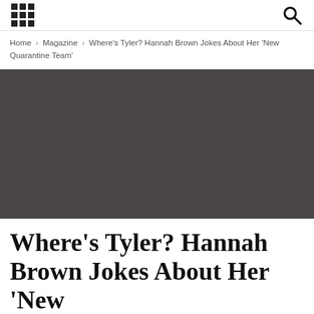[grid menu icon] [search icon]
Home › Magazine › Where's Tyler? Hannah Brown Jokes About Her 'New Quarantine Team'
[Figure (photo): Dark gray hero image placeholder for article photo]
Where's Tyler? Hannah Brown Jokes About Her 'New